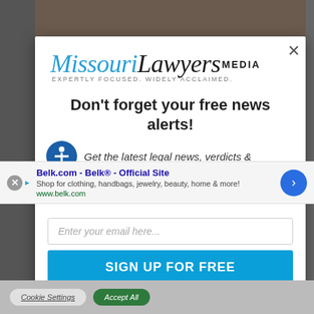[Figure (screenshot): Background showing gavel/courtroom image partially visible behind a modal popup overlay]
Missouri Lawyers MEDIA — EXPERTLY FOCUSED. WIDELY ACCLAIMED.
Don't forget your free news alerts!
Get the latest legal news, verdicts &
[Figure (screenshot): Advertisement banner: Belk.com - Belk® - Official Site. Shop for clothing, handbags, jewelry, beauty, home & more! www.belk.com]
Enter your email here...
SIGN UP FOR FREE
Cookie Settings
Accept All